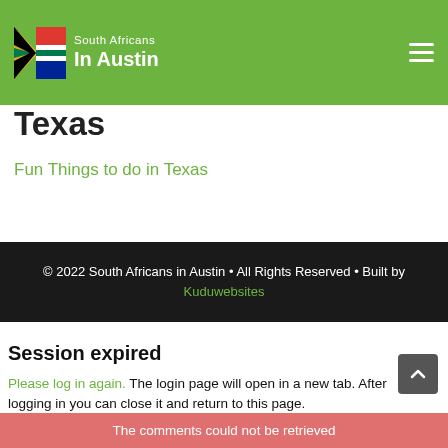South Africans In Austin
Texas
Fun Things to do in Texas
© 2022 South Africans in Austin • All Rights Reserved • Built by Kuduwebsites
Session expired
Please log in again. The login page will open in a new tab. After logging in you can close it and return to this page.
The comments could not be retrieved